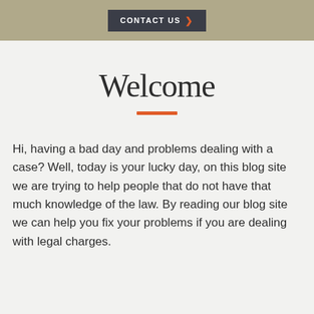[Figure (other): Dark banner with CONTACT US button and orange arrow, on a khaki/tan background header bar]
Welcome
Hi, having a bad day and problems dealing with a case? Well, today is your lucky day, on this blog site we are trying to help people that do not have that much knowledge of the law. By reading our blog site we can help you fix your problems if you are dealing with legal charges.